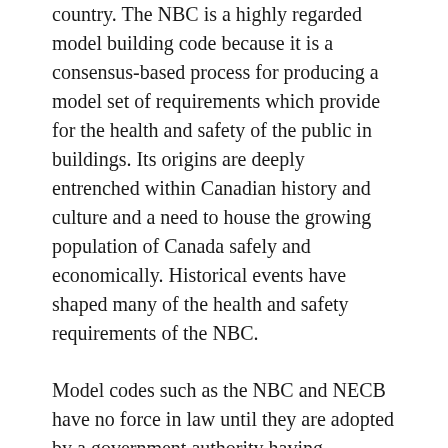country. The NBC is a highly regarded model building code because it is a consensus-based process for producing a model set of requirements which provide for the health and safety of the public in buildings. Its origins are deeply entrenched within Canadian history and culture and a need to house the growing population of Canada safely and economically. Historical events have shaped many of the health and safety requirements of the NBC.
Model codes such as the NBC and NECB have no force in law until they are adopted by a government authority having jurisdiction. In Canada, that responsibility resides within the provinces, territories and in some cases, municipalities. Most regions choose to adopt the NBC, or adapt their own version derived from the NBC to suit regional needs.
The model codes in Canada are developed by